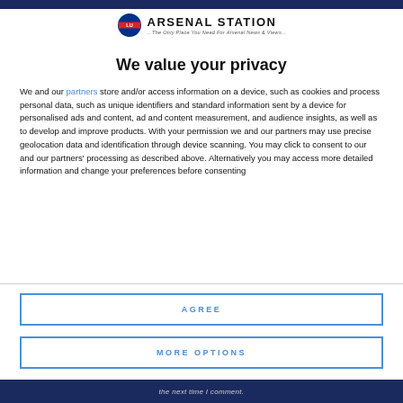[Figure (logo): Arsenal Station logo with London Underground roundel icon and site tagline]
We value your privacy
We and our partners store and/or access information on a device, such as cookies and process personal data, such as unique identifiers and standard information sent by a device for personalised ads and content, ad and content measurement, and audience insights, as well as to develop and improve products. With your permission we and our partners may use precise geolocation data and identification through device scanning. You may click to consent to our and our partners' processing as described above. Alternatively you may access more detailed information and change your preferences before consenting
AGREE
MORE OPTIONS
the next time I comment.